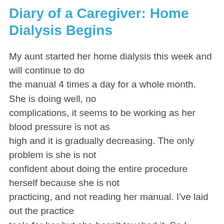Diary of a Caregiver: Home Dialysis Begins
My aunt started her home dialysis this week and will continue to do the manual 4 times a day for a whole month. She is doing well, no complications, it seems to be working as her blood pressure is not as high and it is gradually decreasing. The only problem is she is not confident about doing the entire procedure herself because she is not practicing, and not reading her manual. I've laid out the practice tools for her but she hasn't touched it. So I threatened her that she needs to practice because by next week, she will be doing the entire thing herself without my assistance (only watching). I also said if she can't do it herself then maybe she is not a good